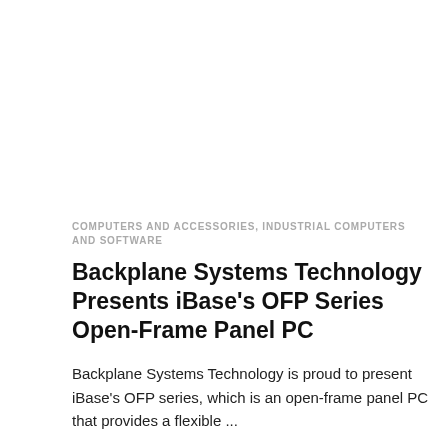COMPUTERS AND ACCESSORIES, INDUSTRIAL COMPUTERS AND SOFTWARE
Backplane Systems Technology Presents iBase's OFP Series Open-Frame Panel PC
Backplane Systems Technology is proud to present iBase's OFP series, which is an open-frame panel PC that provides a flexible ...
PCM_ADMIN | NOVEMBER 4, 2021, 7:02 AM  🔥 666